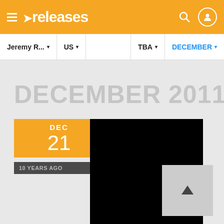≡ ➤releases
Jeremy R... ▾   US ▾   TBA ▾   DECEMBER ▾
DECEMBER 2011
[Figure (screenshot): Date badge showing DEC 21 in orange, with '10 YEARS AGO' in dark grey, next to a black image block]
[Figure (other): Scroll-to-top button with upward arrow triangle on light grey background]